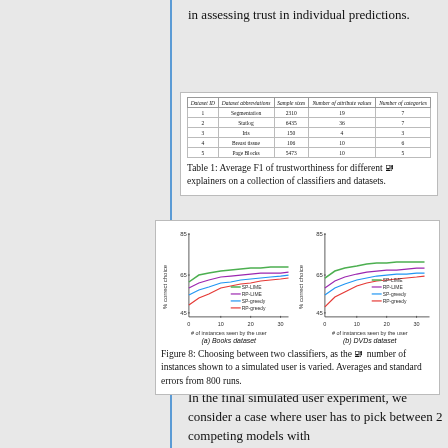in assessing trust in individual predictions.
| Dataset ID | Dataset abbreviations | Sample sizes | Number of attribute values | Number of categories |
| --- | --- | --- | --- | --- |
| 1 | Segmentation | 2310 | 19 | 7 |
| 2 | Statlog | 6435 | 36 | 7 |
| 3 | Iris | 150 | 4 | 3 |
| 4 | Breast tissue | 106 | 10 | 6 |
| 5 | Page Blocks | 5473 | 10 | 5 |
Table 1: Average F1 of trustworthiness for different explainers on a collection of classifiers and datasets.
[Figure (line-chart): Two line charts side by side. (a) Books dataset and (b) DVDs dataset. X-axis: # of instances seen by the user (0 to 30+). Y-axis: % correct choice (45 to 85). Four series: SP-LIME (green), RP-LIME (purple), SP-greedy (blue), RP-greedy (red/pink).]
Figure 8: Choosing between two classifiers, as the number of instances shown to a simulated user is varied. Averages and standard errors from 800 runs.
In the final simulated user experiment, we consider a case where user has to pick between 2 competing models with